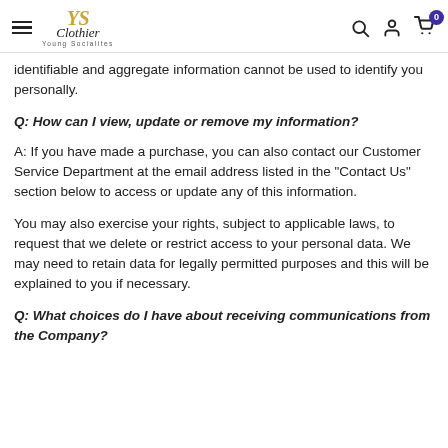Young Socialites Clothier — navigation header
identifiable and aggregate information cannot be used to identify you personally.
Q: How can I view, update or remove my information?
A: If you have made a purchase, you can also contact our Customer Service Department at the email address listed in the "Contact Us" section below to access or update any of this information.
You may also exercise your rights, subject to applicable laws, to request that we delete or restrict access to your personal data. We may need to retain data for legally permitted purposes and this will be explained to you if necessary.
Q: What choices do I have about receiving communications from the Company?